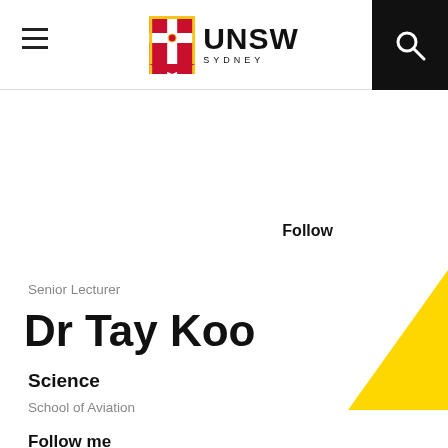UNSW Sydney
Follow
Senior Lecturer
Dr Tay Koo
Science
School of Aviation
Follow me